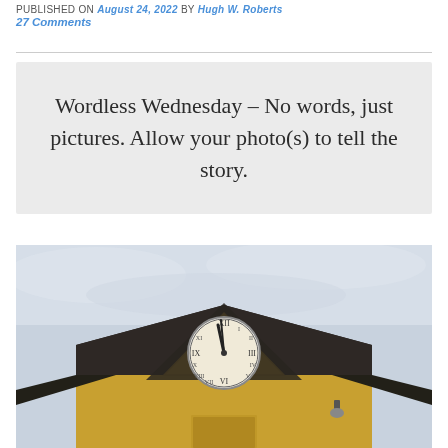PUBLISHED ON August 24, 2022 by Hugh W. Roberts
27 Comments
Wordless Wednesday – No words, just pictures. Allow your photo(s) to tell the story.
[Figure (photo): A photograph of the top of a yellow building with a triangular dormer roof containing a large clock with Roman numerals. The clock shows approximately 11:57. The roof tiles are dark/black, and the sky is overcast grey-white. The building appears to be a historic station or civic building.]